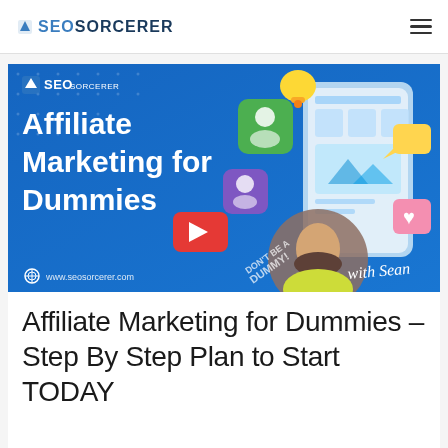SEO SORCERER
[Figure (illustration): Promotional banner image with blue background showing 'Affiliate Marketing for Dummies' text, SEO Sorcerer logo, social media icons (person icon, YouTube play button, bell, heart, message bubble, photo), a smartphone mockup, and a man in a yellow shirt with the text 'with Sean'. Website URL www.seosorcerer.com shown at bottom.]
Affiliate Marketing for Dummies – Step By Step Plan to Start TODAY